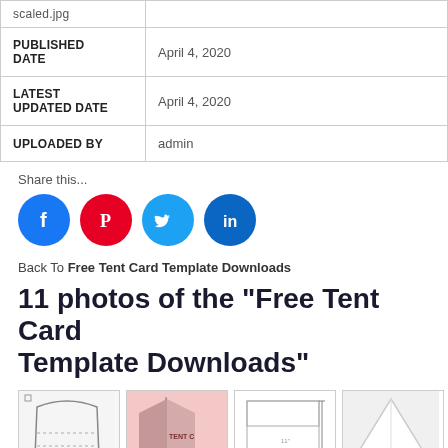| scaled.jpg |  |
| PUBLISHED DATE | April 4, 2020 |
| LATEST UPDATED DATE | April 4, 2020 |
| UPLOADED BY | admin |
Share this...
[Figure (illustration): Social media share icons: Facebook (blue), Pinterest (red), Twitter (light blue), LinkedIn (dark blue)]
Back To Free Tent Card Template Downloads
11 photos of the "Free Tent Card Template Downloads"
[Figure (photo): Row of four thumbnail images showing various tent card templates]